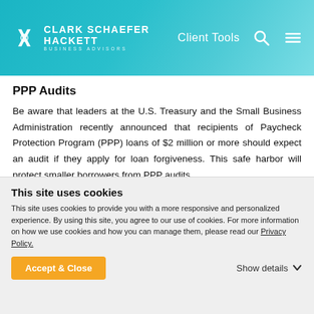CLARK SCHAEFER HACKETT BUSINESS ADVISORS | Client Tools
PPP Audits
Be aware that leaders at the U.S. Treasury and the Small Business Administration recently announced that recipients of Paycheck Protection Program (PPP) loans of $2 million or more should expect an audit if they apply for loan forgiveness. This safe harbor will protect smaller borrowers from PPP audits
This site uses cookies
This site uses cookies to provide you with a more responsive and personalized experience. By using this site, you agree to our use of cookies. For more information on how we use cookies and how you can manage them, please read our Privacy Policy.
Accept & Close | Show details